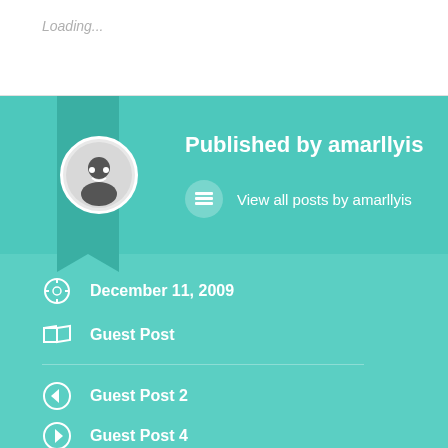Loading...
Published by amarllyis
View all posts by amarllyis
December 11, 2009
Guest Post
Guest Post 2
Guest Post 4